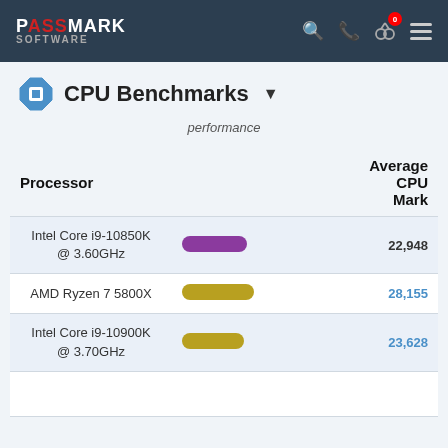PassMark Software - CPU Benchmarks
CPU Benchmarks
performance
| Processor |  | Average CPU Mark |
| --- | --- | --- |
| Intel Core i9-10850K @ 3.60GHz | [bar] | 22,948 |
| AMD Ryzen 7 5800X | [bar] | 28,155 |
| Intel Core i9-10900K @ 3.70GHz | [bar] | 23,628 |